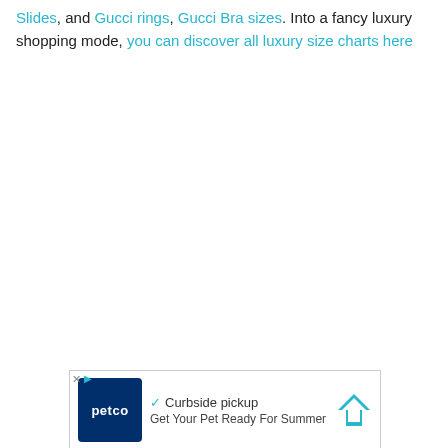Slides, and Gucci rings, Gucci Bra sizes. Into a fancy luxury shopping mode, you can discover all luxury size charts here
[Figure (other): Advertisement banner for Petco with logo, checkmark, 'Curbside pickup' text, navigation arrow icon, and 'Get Your Pet Ready For Summer' tagline]